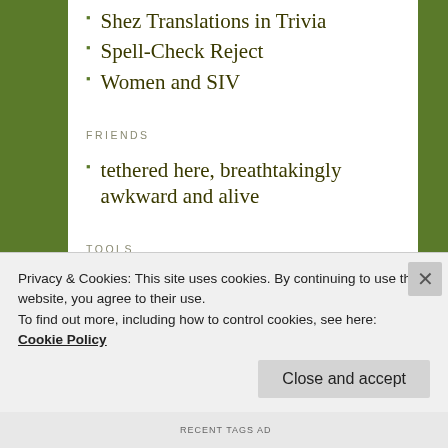Shez Translations in Trivia
Spell-Check Reject
Women and SIV
FRIENDS
tethered here, breathtakingly awkward and alive
TOOLS
HTML codes
WordPress.com
WordPress.org
TRANSLATING ISSUES
Privacy & Cookies: This site uses cookies. By continuing to use this website, you agree to their use.
To find out more, including how to control cookies, see here: Cookie Policy
Close and accept